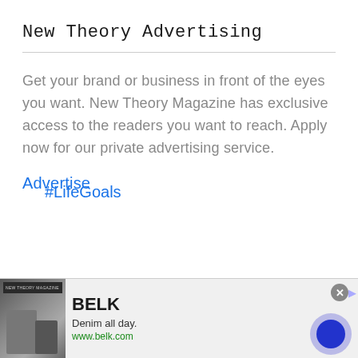New Theory Advertising
Get your brand or business in front of the eyes you want. New Theory Magazine has exclusive access to the readers you want to reach. Apply now for our private advertising service.
Advertise
#LifeGoals
[Figure (screenshot): Advertisement banner for BELK: 'Denim all day. www.belk.com' with fashion imagery, close button, and decorative circle element.]